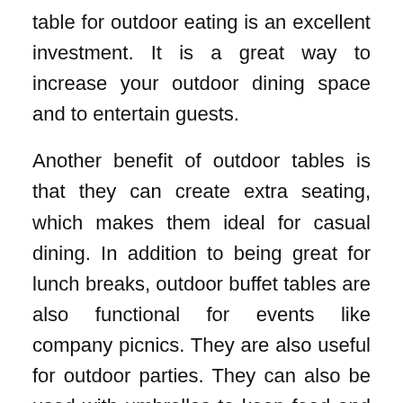table for outdoor eating is an excellent investment. It is a great way to increase your outdoor dining space and to entertain guests.
Another benefit of outdoor tables is that they can create extra seating, which makes them ideal for casual dining. In addition to being great for lunch breaks, outdoor buffet tables are also functional for events like company picnics. They are also useful for outdoor parties. They can also be used with umbrellas to keep food and drinks cool. And, of course, the convenience of a buffet table makes them an excellent option for outdoor dining.
An outdoor table can be used for picnics in public parks, child care settings, and businesses. They